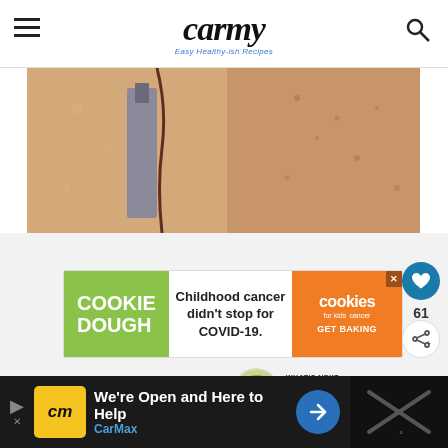carmy — Easy Healthy-ish Recipes
[Figure (photo): Close-up photo of raw chicken breast being sliced or prepared with a knife, showing meat texture]
[Figure (infographic): Cookie Dough charity ad banner: COOKIE DOUGH - Childhood cancer didn't stop for COVID-19. cookies for kids' cancer - GET BAKING]
[Figure (infographic): What's Next section showing Roasted Sweet Potat... with circular food image thumbnail]
[Figure (infographic): CarMax bottom advertisement: We're Open and Here to Help - CarMax]